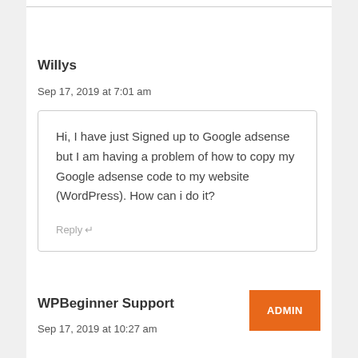Willys
Sep 17, 2019 at 7:01 am
Hi, I have just Signed up to Google adsense but I am having a problem of how to copy my Google adsense code to my website (WordPress). How can i do it?
Reply ↵
WPBeginner Support
ADMIN
Sep 17, 2019 at 10:27 am